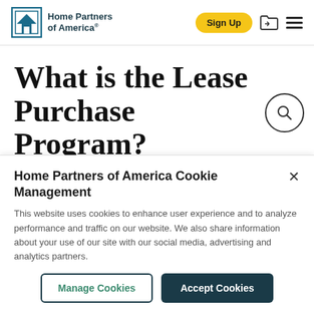Home Partners of America — Sign Up
What is the Lease Purchase Program?
Home Partners of America Cookie Management
This website uses cookies to enhance user experience and to analyze performance and traffic on our website. We also share information about your use of our site with our social media, advertising and analytics partners.